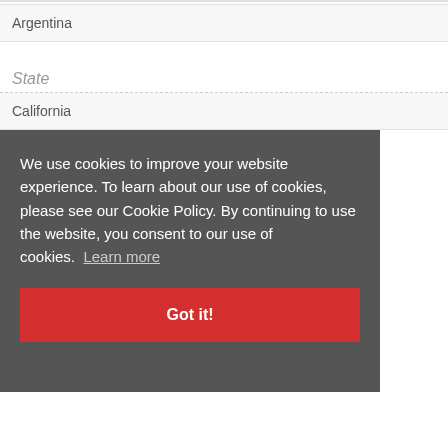Argentina
State
California
We use cookies to improve your website experience. To learn about our use of cookies, please see our Cookie Policy. By continuing to use the website, you consent to our use of cookies. Learn more
Got it!